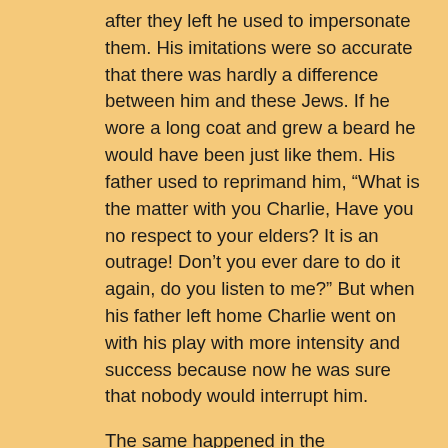after they left he used to impersonate them. His imitations were so accurate that there was hardly a difference between him and these Jews. If he wore a long coat and grew a beard he would have been just like them. His father used to reprimand him, “What is the matter with you Charlie, Have you no respect to your elders? It is an outrage! Don’t you ever dare to do it again, do you listen to me?” But when his father left home Charlie went on with his play with more intensity and success because now he was sure that nobody would interrupt him.
The same happened in the “Kheyder”[31] where Charlie studied in his childhood. He used to copy every movement and grimace of the Rabbi, from the chanting of the Pentateuch to the blowing of his nose, till all the pupils burst into laughter.